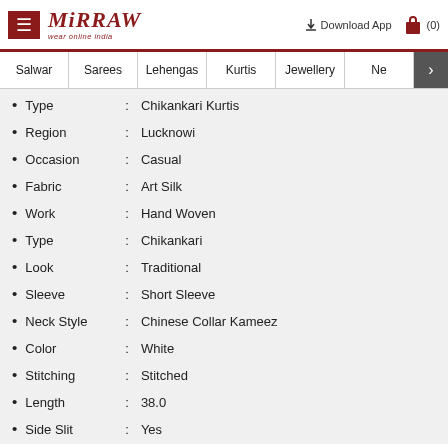Mirraw — wear online india | Download App | (0)
Salwar | Sarees | Lehengas | Kurtis | Jewellery | Ne >
Type : Chikankari Kurtis
Region : Lucknowi
Occasion : Casual
Fabric : Art Silk
Work : Hand Woven
Type : Chikankari
Look : Traditional
Sleeve : Short Sleeve
Neck Style : Chinese Collar Kameez
Color : White
Stitching : Stitched
Length : 38.0
Side Slit : Yes